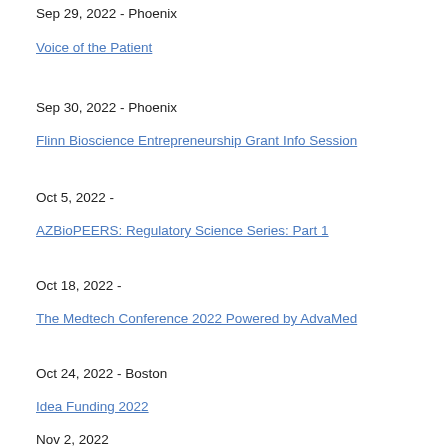Sep 29, 2022 - Phoenix
Voice of the Patient
Sep 30, 2022 - Phoenix
Flinn Bioscience Entrepreneurship Grant Info Session
Oct 5, 2022 -
AZBioPEERS: Regulatory Science Series: Part 1
Oct 18, 2022 -
The Medtech Conference 2022 Powered by AdvaMed
Oct 24, 2022 - Boston
Idea Funding 2022
Nov 2, 2022